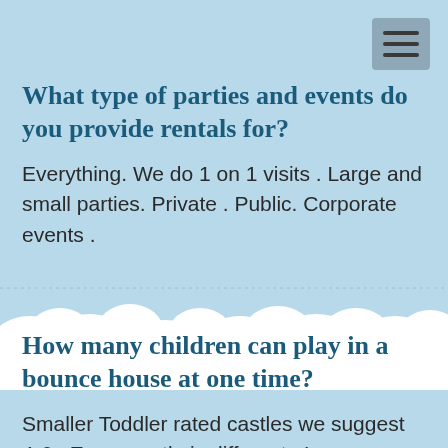What type of parties and events do you provide rentals for?
Everything. We do 1 on 1 visits . Large and small parties. Private . Public. Corporate events .
How many children can play in a bounce house at one time?
Smaller Toddler rated castles we suggest 4-6 . Every castle is different . Larger castles hold